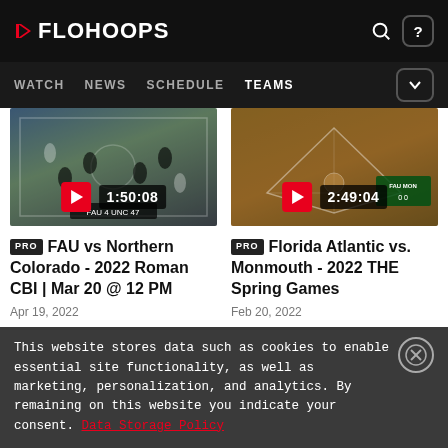FLOHOOPS — WATCH | NEWS | SCHEDULE | TEAMS
[Figure (screenshot): Video thumbnail for FAU vs Northern Colorado basketball game, duration 1:50:08]
PRO FAU vs Northern Colorado - 2022 Roman CBI | Mar 20 @ 12 PM
Apr 19, 2022
[Figure (screenshot): Video thumbnail for Florida Atlantic vs Monmouth baseball/sports game, duration 2:49:04]
PRO Florida Atlantic vs. Monmouth - 2022 THE Spring Games
Feb 20, 2022
This website stores data such as cookies to enable essential site functionality, as well as marketing, personalization, and analytics. By remaining on this website you indicate your consent. Data Storage Policy